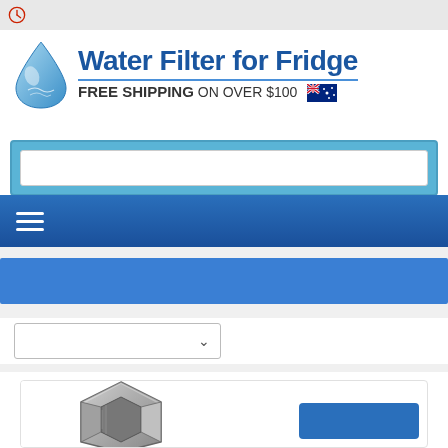[Figure (logo): Red clock/history icon in top-left corner]
[Figure (logo): Water Filter for Fridge logo with water droplet icon and text 'Water Filter for Fridge FREE SHIPPING ON OVER $100' with Australian flag]
[Figure (screenshot): Search bar input field with light blue background container]
[Figure (screenshot): Blue navigation bar with hamburger menu icon (three horizontal lines)]
[Figure (screenshot): Blue category/breadcrumb bar]
[Figure (screenshot): Sort/filter dropdown selector]
[Figure (photo): Silver hex nut / plumbing fitting product image, partially cropped at bottom, with a blue buy button visible at bottom right]